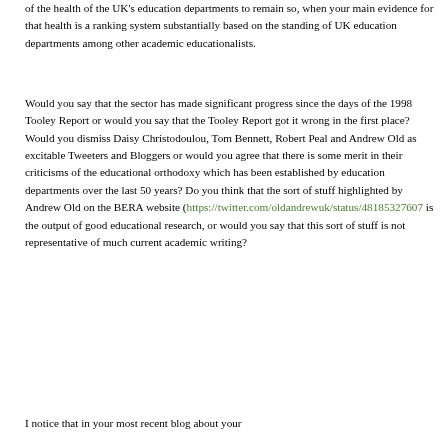of the health of the UK's education departments to remain so, when your main evidence for that health is a ranking system substantially based on the standing of UK education departments among other academic educationalists.
Would you say that the sector has made significant progress since the days of the 1998 Tooley Report or would you say that the Tooley Report got it wrong in the first place? Would you dismiss Daisy Christodoulou, Tom Bennett, Robert Peal and Andrew Old as excitable Tweeters and Bloggers or would you agree that there is some merit in their criticisms of the educational orthodoxy which has been established by education departments over the last 50 years? Do you think that the sort of stuff highlighted by Andrew Old on the BERA website (https://twitter.com/oldandrewuk/status/48185327607 is the output of good educational research, or would you say that this sort of stuff is not representative of much current academic writing?
I notice that in your most recent blog about your